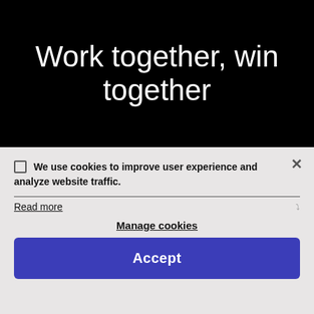Work together, win together
We use cookies to improve user experience and analyze website traffic.
Read more
Manage cookies
Accept